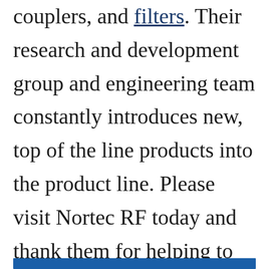couplers, and filters. Their research and development group and engineering team constantly introduces new, top of the line products into the product line. Please visit Nortec RF today and thank them for helping to deliver RF Cafe.